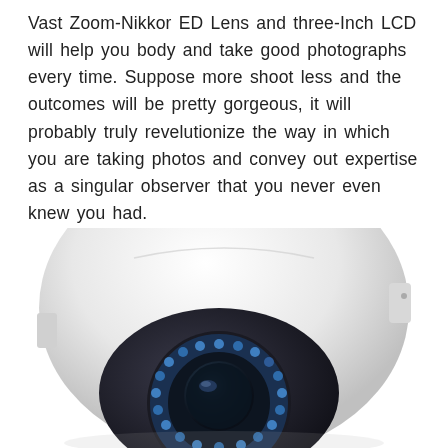Vast Zoom-Nikkor ED Lens and three-Inch LCD will help you body and take good photographs every time. Suppose more shoot less and the outcomes will be pretty gorgeous, it will probably truly revelutionize the way in which you are taking photos and convey out expertise as a singular observer that you never even knew you had.
[Figure (photo): A white dome-shaped security/surveillance camera viewed from slightly above and in front, showing a circular lens housing with blue LED ring lights around it, set against a white background.]